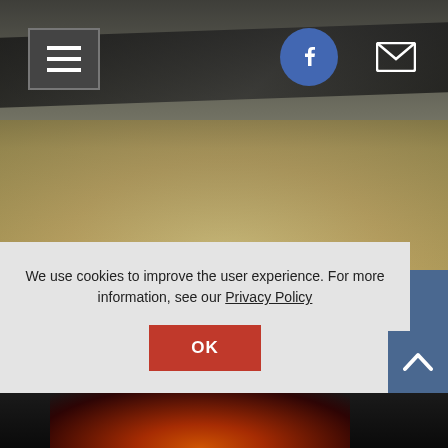[Figure (screenshot): Website screenshot showing hero image with dark object on gravel/rocky background, navigation bar with hamburger menu, Facebook circle icon, and email icon at top]
[Figure (infographic): Blue navigation section with four icons: list/services icon with 'Our Services' label, Facebook 'f' icon with 'Like Us' label, clock icon with 'Hours' label, location pin icon with 'Location' label]
We use cookies to improve the user experience. For more information, see our Privacy Policy
OK